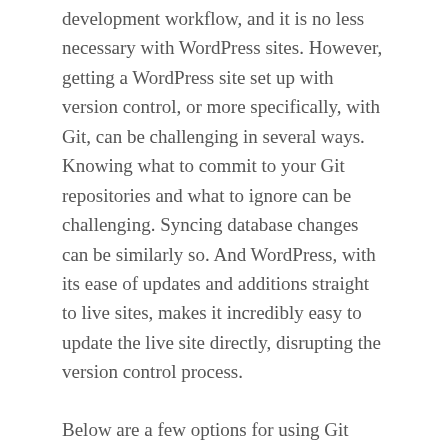development workflow, and it is no less necessary with WordPress sites. However, getting a WordPress site set up with version control, or more specifically, with Git, can be challenging in several ways. Knowing what to commit to your Git repositories and what to ignore can be challenging. Syncing database changes can be similarly so. And WordPress, with its ease of updates and additions straight to live sites, makes it incredibly easy to update the live site directly, disrupting the version control process.
Below are a few options for using Git with WordPress, some information about VersionPress,